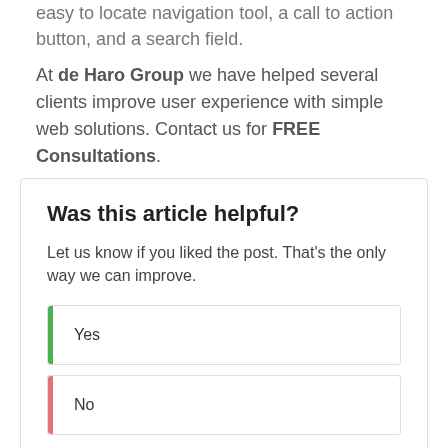easy to locate navigation tool, a call to action button, and a search field.
At de Haro Group we have helped several clients improve user experience with simple web solutions. Contact us for FREE Consultations.
Was this article helpful?
Let us know if you liked the post. That’s the only way we can improve.
Yes
No